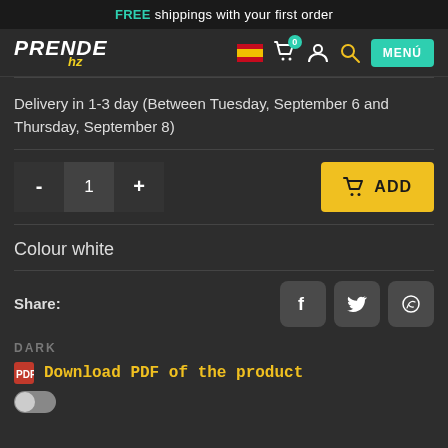FREE shippings with your first order
[Figure (logo): PrendeHz logo with yellow italic accent]
Delivery in 1-3 day (Between Tuesday, September 6 and Thursday, September 8)
[Figure (other): Quantity selector with minus, 1, plus buttons and yellow ADD button with basket icon]
Colour white
Share:
[Figure (other): Social share buttons: Facebook, Twitter, WhatsApp]
DARK
Download PDF of the product